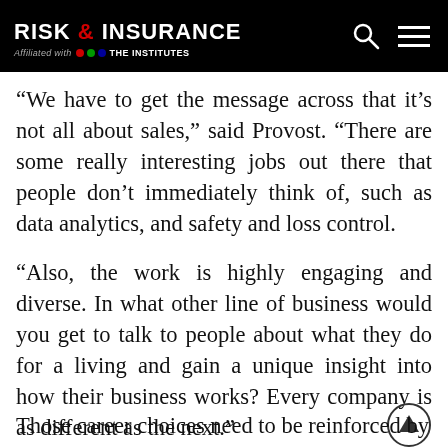RISK & INSURANCE — Affiliated with THE INSTITUTES
“We have to get the message across that it’s not all about sales,” said Provost. “There are some really interesting jobs out there that people don’t immediately think of, such as data analytics, and safety and loss control.
“Also, the work is highly engaging and diverse. In what other line of business would you get to talk to people about what they do for a living and gain a unique insight into how their business works? Every company is as different as the next.”
Those career choices need to be reinforced by